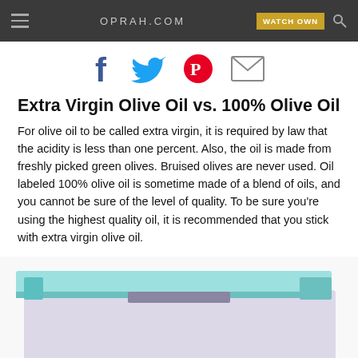OPRAH.COM | WATCH OWN
[Figure (infographic): Social sharing icons: Facebook, Twitter, Pinterest, Email]
Extra Virgin Olive Oil vs. 100% Olive Oil
For olive oil to be called extra virgin, it is required by law that the acidity is less than one percent. Also, the oil is made from freshly picked green olives. Bruised olives are never used. Oil labeled 100% olive oil is sometime made of a blend of oils, and you cannot be sure of the level of quality. To be sure you're using the highest quality oil, it is recommended that you stick with extra virgin olive oil.
[Figure (photo): Partial view of a light-colored container with a teal/blue lid against a white background]